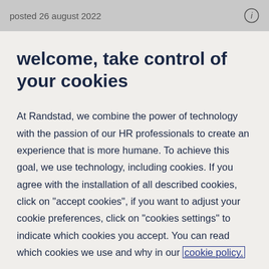posted 26 august 2022
welcome, take control of your cookies
At Randstad, we combine the power of technology with the passion of our HR professionals to create an experience that is more humane. To achieve this goal, we use technology, including cookies. If you agree with the installation of all described cookies, click on "accept cookies", if you want to adjust your cookie preferences, click on "cookies settings" to indicate which cookies you accept. You can read which cookies we use and why in our cookie policy.